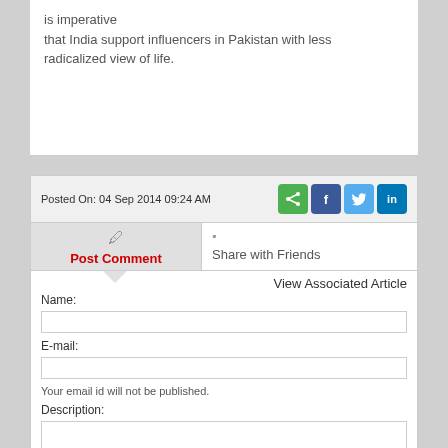is imperative that India support influencers in Pakistan with less radicalized view of life.
Posted On: 04 Sep 2014 09:24 AM
Post Comment
Share with Friends
View Associated Article
Name:
E-mail:
Your email id will not be published.
Description: